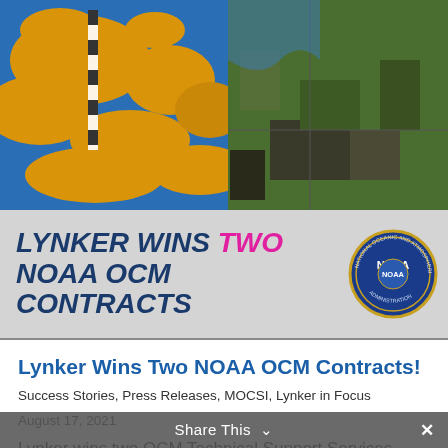[Figure (photo): Aerial/coastal map showing blue water and orange/gold land masses on the left, with satellite imagery on the right, printed maps/charts visible on a wooden surface]
[Figure (infographic): Gray banner reading 'LYNKER WINS TWO NOAA OCM CONTRACTS' in bold italic blue with TWO in pink/magenta, with NOAA circular seal on right]
Lynker Wins Two NOAA OCM Contracts!
Success Stories, Press Releases, MOCSI, Lynker in Focus
August 17, 2021
Lynker wins two OCM Technical Support Services contracts! We...
Share This